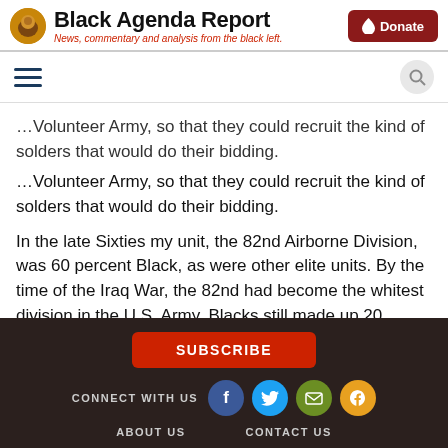Black Agenda Report — News, commentary and analysis from the black left.
...Volunteer Army, so that they could recruit the kind of solders that would do their bidding.
In the late Sixties my unit, the 82nd Airborne Division, was 60 percent Black, as were other elite units. By the time of the Iraq War, the 82nd had become the whitest division in the U.S. Army. Blacks still made up 20 percent of the U.S. military, but they were now mainly in support units, not the combat arms line units.
The U.S. military knows full well that Black America has never
SUBSCRIBE | CONNECT WITH US | ABOUT US | CONTACT US